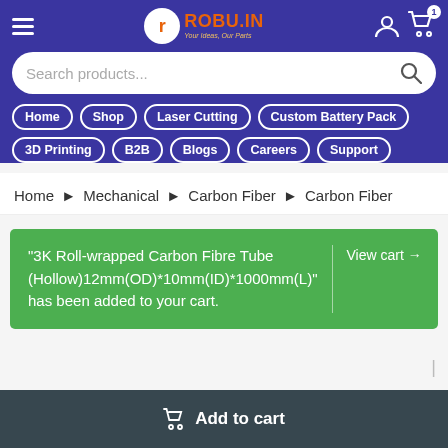ROBU.IN — Your Ideas, Our Parts
Search products...
Home
Shop
Laser Cutting
Custom Battery Pack
3D Printing
B2B
Blogs
Careers
Support
Home > Mechanical > Carbon Fiber > Carbon Fiber
"3K Roll-wrapped Carbon Fibre Tube (Hollow)12mm(OD)*10mm(ID)*1000mm(L)" has been added to your cart.
View cart →
Add to cart